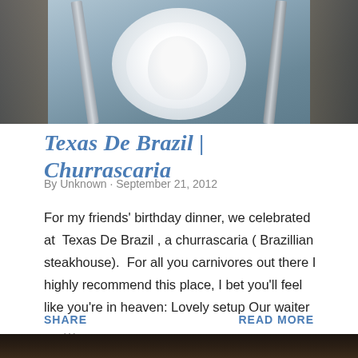[Figure (photo): Photo of a white plate with a white egg on it, fork and knife on either side, on a wooden table with blue-gray tones]
Texas De Brazil | Churrascaria
By Unknown · September 21, 2012
For my friends' birthday dinner, we celebrated at  Texas De Brazil , a churrascaria ( Brazillian steakhouse).  For all you carnivores out there I highly recommend this place, I bet you'll feel like you're in heaven: Lovely setup Our waiter …
SHARE
READ MORE
[Figure (photo): Partial dark photo visible at the bottom of the page]